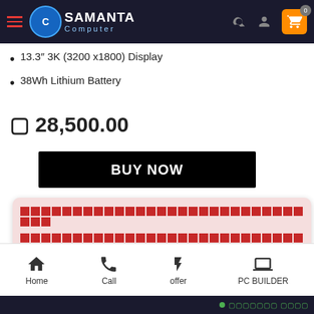Samanta Computer - Navigation header with logo, search, user, and cart icons
13.3" 3K (3200 x1800) Display
38Wh Lithium Battery
৳ 28,500.00
BUY NOW
[Figure (screenshot): Popup notification box with pink/red background containing garbled/tofu text in red (unrenderable characters shown as boxes)]
Home | Call | offer | PC BUILDER